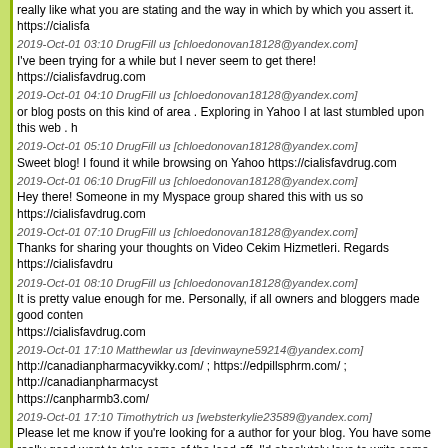really like what you are stating and the way in which by which you assert it. https://cialisfa
2019-Oct-01 03:10 DrugFill из [chloedonovan18128@yandex.com]
I've been trying for a while but I never seem to get there! https://cialisfavdrug.com
2019-Oct-01 04:10 DrugFill из [chloedonovan18128@yandex.com]
or blog posts on this kind of area . Exploring in Yahoo I at last stumbled upon this web . h
2019-Oct-01 05:10 DrugFill из [chloedonovan18128@yandex.com]
Sweet blog! I found it while browsing on Yahoo https://cialisfavdrug.com
2019-Oct-01 06:10 DrugFill из [chloedonovan18128@yandex.com]
Hey there! Someone in my Myspace group shared this with us so https://cialisfavdrug.com
2019-Oct-01 07:10 DrugFill из [chloedonovan18128@yandex.com]
Thanks for sharing your thoughts on Video Cekim Hizmetleri. Regards https://cialisfavdru
2019-Oct-01 08:10 DrugFill из [chloedonovan18128@yandex.com]
It is pretty value enough for me. Personally, if all owners and bloggers made good conten https://cialisfavdrug.com
2019-Oct-01 17:10 Matthewlar из [devinwayne59214@yandex.com]
http://canadianpharmacyvikky.com/ ; https://edpillsphrm.com/ ; http://canadianpharmacyst https://canpharmb3.com/
2019-Oct-01 17:10 Timothytrich из [websterkylie23589@yandex.com]
Please let me know if you're looking for a author for your blog. You have some really good want to take some of the load off, I'd absolutely love to write some content for your blog in mail if interested. Regards! <a href=" https://edpillsphrm.com ">canadian online pharmacy
2019-Oct-01 18:10 Timothytrich из [websterkylie23589@yandex.com]
I am sure this paragraph has touched all the internet people, its really really good paragra https://canpharmb3.com ">best canadian online pharmacy</a>
2019-Oct-01 19:10 Timothytrich из [websterkylie23589@yandex.com]
Fine way of telling, and fastidious paragraph to get data on the topic of my presentation s href=" http://canadapharmxpd.com ">77 canadian pharmacy online</a>
2019-Oct-01 21:10 Timothytrich из [websterkylie23589@yandex.com]
book marked to check out new things in your . <a href=" http://canadianpharmacystorm.co
2019-Oct-01 21:10 DavidNeaks из [si8t4ad2@gmail.com]
http://canadapharmxpd.com/ canadian pharmacy ships to new zealand https://edpillsphrm
http://canadianpharmacystorm.com/ is canadian pharmacy online safe http://canadianpha